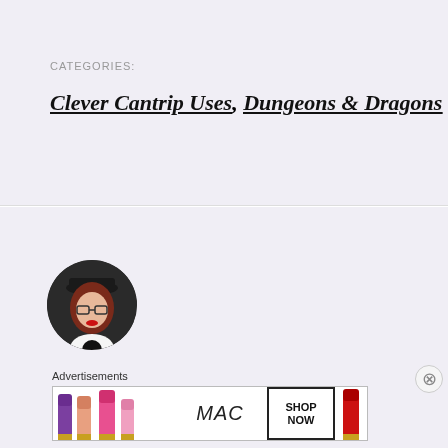CATEGORIES:
Clever Cantrip Uses, Dungeons & Dragons
[Figure (photo): Circular author profile photo showing a woman with red hair, glasses, and red lipstick wearing a white top]
Advertisements
[Figure (photo): MAC cosmetics advertisement banner showing colorful lipsticks, MAC logo, and SHOP NOW button]